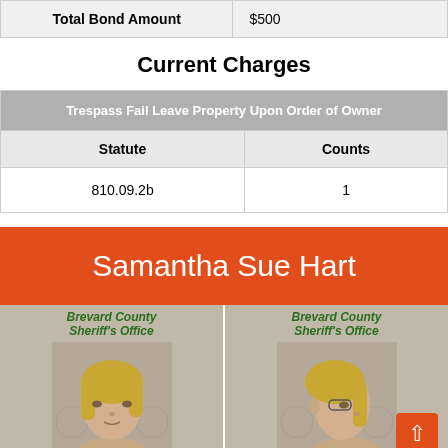| Total Bond Amount | $500 |
| --- | --- |
Current Charges
| Trespass Fail Leave Property Upon Order of Owner |
| --- |
| Statute | Counts |
| 810.09.2b | 1 |
Samantha Sue Hart
[Figure (photo): Two mugshot photos side by side from Brevard County Sheriff's Office showing Samantha Sue Hart, front and side views]